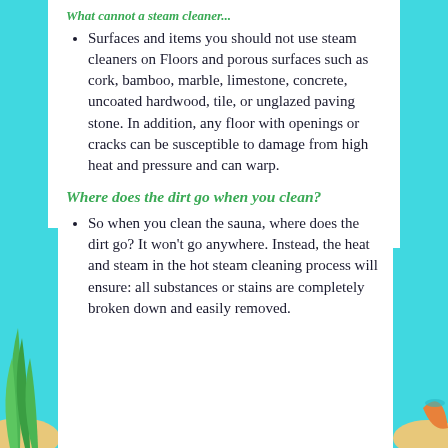Surfaces and items you should not use steam cleaners on Floors and porous surfaces such as cork, bamboo, marble, limestone, concrete, uncoated hardwood, tile, or unglazed paving stone. In addition, any floor with openings or cracks can be susceptible to damage from high heat and pressure and can warp.
Where does the dirt go when you clean?
So when you clean the sauna, where does the dirt go? It won't go anywhere. Instead, the heat and steam in the hot steam cleaning process will ensure: all substances or stains are completely broken down and easily removed.